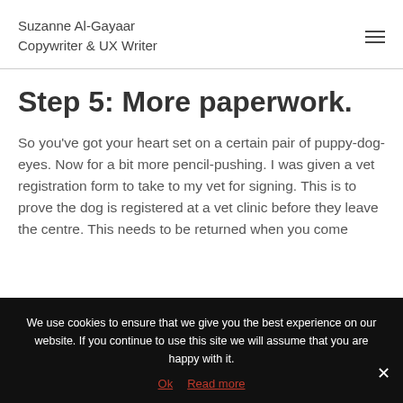Suzanne Al-Gayaar
Copywriter & UX Writer
Step 5: More paperwork.
So you've got your heart set on a certain pair of puppy-dog-eyes. Now for a bit more pencil-pushing. I was given a vet registration form to take to my vet for signing. This is to prove the dog is registered at a vet clinic before they leave the centre. This needs to be returned when you come
We use cookies to ensure that we give you the best experience on our website. If you continue to use this site we will assume that you are happy with it.
Ok   Read more